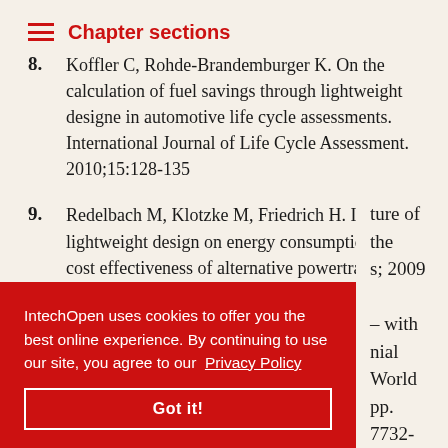Chapter sections
8. Koffler C, Rohde-Brandemburger K. On the calculation of fuel savings through lightweight designe in automotive life cycle assessments. International Journal of Life Cycle Assessment. 2010;15:128-135
9. Redelbach M, Klotzke M, Friedrich H. Impact of lightweight design on energy consumption and cost effectiveness of alternative powertrain concepts. European Electric Vehicle Congress, Brussels, Nov 19-22, 2012
IntechOpen uses cookies to offer you the best online experience. By continuing to use our site, you agree to our Privacy Policy
Got it!